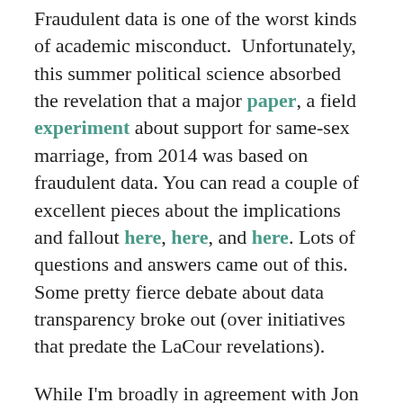Fraudulent data is one of the worst kinds of academic misconduct. Unfortunately, this summer political science absorbed the revelation that a major paper, a field experiment about support for same-sex marriage, from 2014 was based on fraudulent data. You can read a couple of excellent pieces about the implications and fallout here, here, and here. Lots of questions and answers came out of this. Some pretty fierce debate about data transparency broke out (over initiatives that predate the LaCour revelations).
While I'm broadly in agreement with Jon Ladd (the second link above) that bad-faith errors like falsified data don't open up any really interesting or ambiguous questions about research ethics, a big causal question remains relevant and raw. I